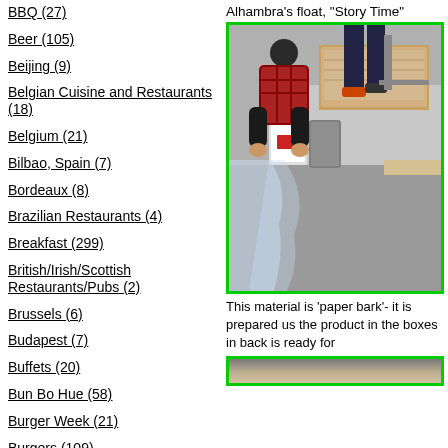BBQ (27)
Beer (105)
Beijing (9)
Belgian Cuisine and Restaurants (18)
Belgium (21)
Bilbao, Spain (7)
Bordeaux (8)
Brazilian Restaurants (4)
Breakfast (299)
British/Irish/Scottish Restaurants/Pubs (2)
Brussels (6)
Budapest (7)
Buffets (20)
Bun Bo Hue (58)
Burger Week (21)
Burgers (109)
Burgundy (9)
Alhambra's float, "Story Time"
[Figure (photo): A person leaning over a table with buckets and boxes filled with paper bark material, with a plastic sheet draping down.]
This material is 'paper bark'- it is prepared us the product in the boxes in back is ready for
[Figure (photo): Bottom partial photo, cropped.]